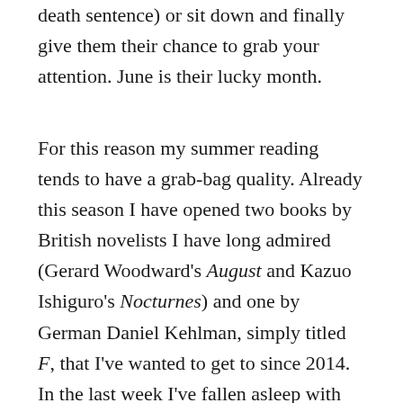death sentence) or sit down and finally give them their chance to grab your attention. June is their lucky month.
For this reason my summer reading tends to have a grab-bag quality. Already this season I have opened two books by British novelists I have long admired (Gerard Woodward's August and Kazuo Ishiguro's Nocturnes) and one by German Daniel Kehlman, simply titled F, that I've wanted to get to since 2014. In the last week I've fallen asleep with John Irving's In One Person on top of my chest and with my face pressed against Lawrence Norfolk's The Pope's Rhinoceros. I may not finish